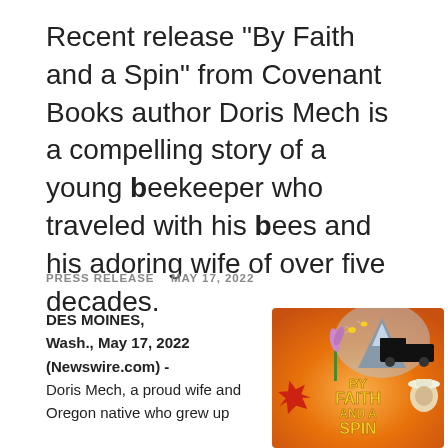Recent release "By Faith and a Spin" from Covenant Books author Doris Mech is a compelling story of a young beekeeper who traveled with his bees and his adoring wife of over five decades.
PRESS RELEASE   MAY 17, 2022
DES MOINES, Wash., May 17, 2022 (Newswire.com) - Doris Mech, a proud wife and Oregon native who grew up
[Figure (illustration): Book cover for 'By Faith and a Spin' showing an orange/warm background with a mountain, bees, flowers, a red maple leaf, a truck silhouette, a beekeeper in a white hat, and bold gold text reading 'BY FAITH AND A SPIN']